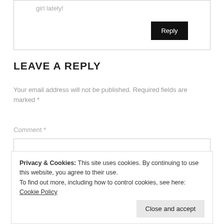girl lately!
Reply
LEAVE A REPLY
Your email address will not be published. Required fields are marked *
Comment *
Privacy & Cookies: This site uses cookies. By continuing to use this website, you agree to their use.
To find out more, including how to control cookies, see here: Cookie Policy
Close and accept